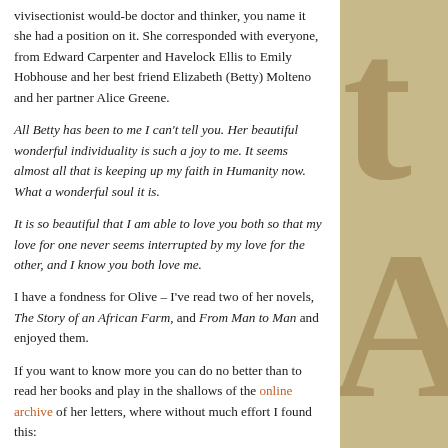vivisectionist would-be doctor and thinker, you name it she had a position on it. She corresponded with everyone, from Edward Carpenter and Havelock Ellis to Emily Hobhouse and her best friend Elizabeth (Betty) Molteno and her partner Alice Greene.
All Betty has been to me I can't tell you. Her beautiful wonderful individuality is such a joy to me. It seems almost all that is keeping up my faith in Humanity now. What a wonderful soul it is.
It is so beautiful that I am able to love you both so that my love for one never seems interrupted by my love for the other, and I know you both love me.
I have a fondness for Olive – I've read two of her novels, The Story of an African Farm, and From Man to Man and enjoyed them.
If you want to know more you can do no better than to read her books and play in the shallows of the online archive of her letters, where without much effort I found this:
Olive Schreiner to Isaline Philpot, 17 March 1889, NLSA Cape Town, Special Collections, Olive Schreiner Letters Project transcription